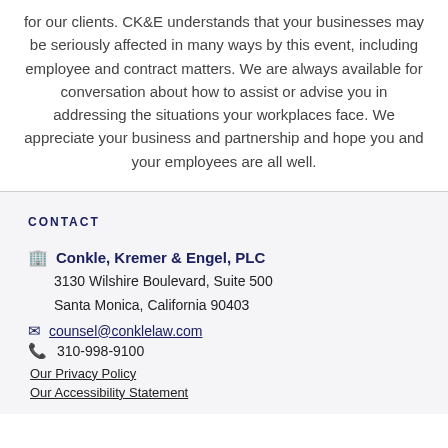for our clients. CK&E understands that your businesses may be seriously affected in many ways by this event, including employee and contract matters. We are always available for conversation about how to assist or advise you in addressing the situations your workplaces face. We appreciate your business and partnership and hope you and your employees are all well.
CONTACT
Conkle, Kremer & Engel, PLC
3130 Wilshire Boulevard, Suite 500
Santa Monica, California 90403
counsel@conklelaw.com
310-998-9100
Our Privacy Policy
Our Accessibility Statement